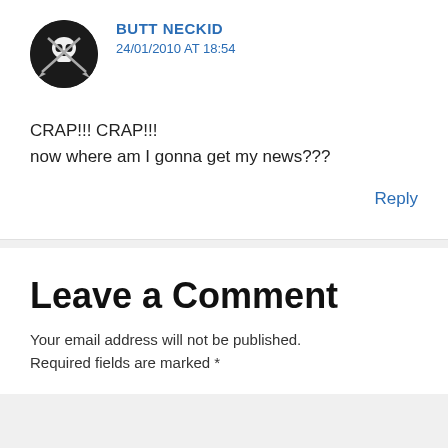[Figure (illustration): Circular avatar with black background showing a pirate skull and crossbones (Jolly Roger) logo with crossed swords]
BUTT NECKID
24/01/2010 AT 18:54
CRAP!!! CRAP!!!
now where am I gonna get my news???
Reply
Leave a Comment
Your email address will not be published. Required fields are marked *